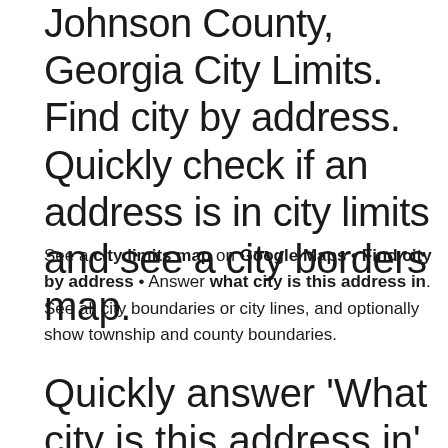Johnson County, Georgia City Limits. Find city by address. Quickly check if an address is in city limits and see a city borders map.
See a city limits map on Google Maps • Find city by address • Answer what city is this address in. See all city boundaries or city lines, and optionally show township and county boundaries.
Quickly answer 'What city is this address in' and 'What city do I live in' anywhere in the U.S.